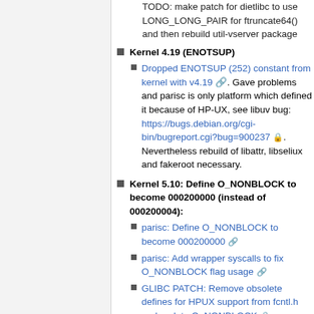TODO: make patch for dietlibc to use LONG_LONG_PAIR for ftruncate64() and then rebuild util-vserver package
Kernel 4.19 (ENOTSUP)
Dropped ENOTSUP (252) constant from kernel with v4.19. Gave problems and parisc is only platform which defined it because of HP-UX, see libuv bug: https://bugs.debian.org/cgi-bin/bugreport.cgi?bug=900237. Nevertheless rebuild of libattr, libseliux and fakeroot necessary.
Kernel 5.10: Define O_NONBLOCK to become 000200000 (instead of 000200004):
parisc: Define O_NONBLOCK to become 000200000
parisc: Add wrapper syscalls to fix O_NONBLOCK flag usage
GLIBC PATCH: Remove obsolete defines for HPUX support from fcntl.h and update O_NONBLOCK.